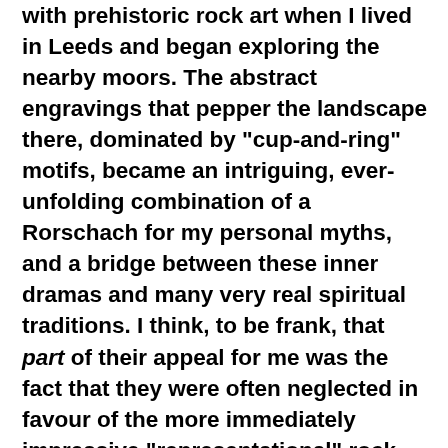with prehistoric rock art when I lived in Leeds and began exploring the nearby moors. The abstract engravings that pepper the landscape there, dominated by "cup-and-ring" motifs, became an intriguing, ever-unfolding combination of a Rorschach for my personal myths, and a bridge between these inner dramas and many very real spiritual traditions. I think, to be frank, that part of their appeal for me was the fact that they were often neglected in favour of the more immediately impressive "representational" rock paintings that adorned—among other places—the deep caves of western Europe.